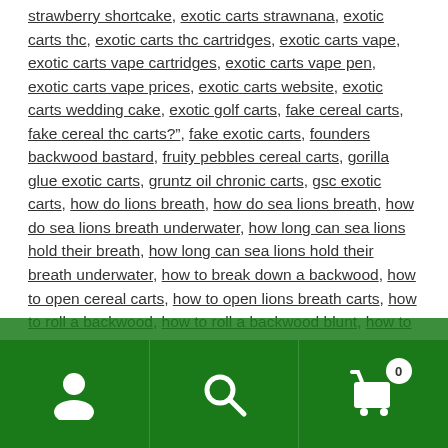strawberry shortcake, exotic carts strawnana, exotic carts thc, exotic carts thc cartridges, exotic carts vape, exotic carts vape cartridges, exotic carts vape pen, exotic carts vape prices, exotic carts website, exotic carts wedding cake, exotic golf carts, fake cereal carts, fake cereal thc carts?", fake exotic carts, founders backwood bastard, fruity pebbles cereal carts, gorilla glue exotic carts, gruntz oil chronic carts, gsc exotic carts, how do lions breath, how do sea lions breath, how do sea lions breath underwater, how long can sea lions hold their breath, how long can sea lions hold their breath underwater, how to break down a backwood, how to open cereal carts, how to open lions breath carts, how to roll a backwood, how to roll a backwood blunt, how to spot fake exotic carts, how to tell fake chronic carts, is big chief building a new car, is big chief divorce, joe exotic carts, justin “big chief” shearer, kosher kush exotic carts, Kush, legion of bloom carts, legion of bloom carts black box, lions breath, lions breath...